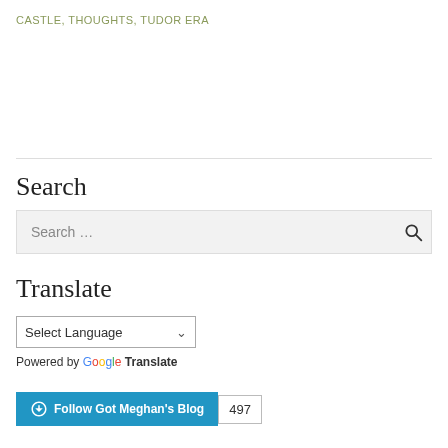CASTLE, THOUGHTS, TUDOR ERA
Search
Search ...
Translate
Select Language
Powered by Google Translate
Follow Got Meghan's Blog  497